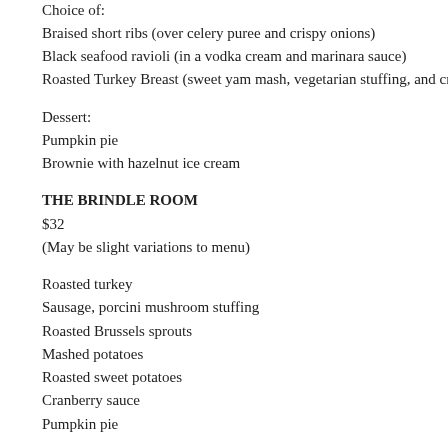Homemade toasted pumpkin ravioli
Butternut squash soup
Choice of:
Braised short ribs (over celery puree and crispy onions)
Black seafood ravioli (in a vodka cream and marinara sauce)
Roasted Turkey Breast (sweet yam mash, vegetarian stuffing, and cranbe…
Dessert:
Pumpkin pie
Brownie with hazelnut ice cream
THE BRINDLE ROOM
$32
(May be slight variations to menu)
Roasted turkey
Sausage, porcini mushroom stuffing
Roasted Brussels sprouts
Mashed potatoes
Roasted sweet potatoes
Cranberry sauce
Pumpkin pie